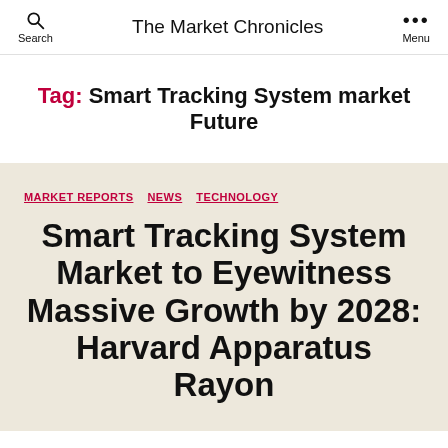The Market Chronicles
Tag: Smart Tracking System market Future
MARKET REPORTS  NEWS  TECHNOLOGY
Smart Tracking System Market to Eyewitness Massive Growth by 2028: Harvard Apparatus Rayon